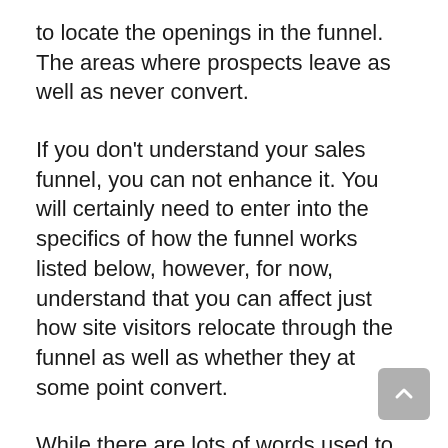to locate the openings in the funnel. The areas where prospects leave as well as never convert.
If you don't understand your sales funnel, you can not enhance it. You will certainly need to enter into the specifics of how the funnel works listed below, however, for now, understand that you can affect just how site visitors relocate through the funnel as well as whether they at some point convert.
While there are lots of words used to explain different sales funnel stages, there are four most usual terms made